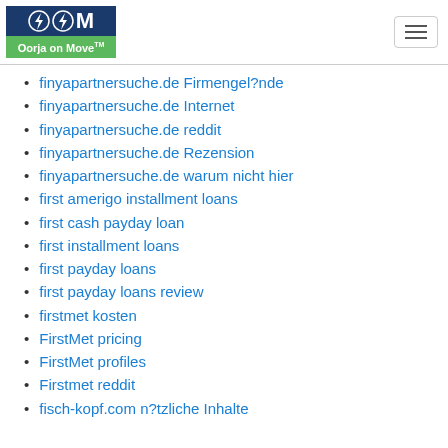Oorja on Move
finyapartnersuche.de Firmengel?nde
finyapartnersuche.de Internet
finyapartnersuche.de reddit
finyapartnersuche.de Rezension
finyapartnersuche.de warum nicht hier
first amerigo installment loans
first cash payday loan
first installment loans
first payday loans
first payday loans review
firstmet kosten
FirstMet pricing
FirstMet profiles
Firstmet reddit
fisch-kopf.com n?tzliche Inhalte